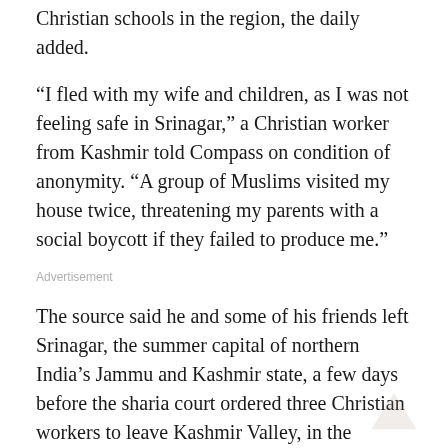Christian schools in the region, the daily added.
“I fled with my wife and children, as I was not feeling safe in Srinagar,” a Christian worker from Kashmir told Compass on condition of anonymity. “A group of Muslims visited my house twice, threatening my parents with a social boycott if they failed to produce me.”
Advertisement
The source said he and some of his friends left Srinagar, the summer capital of northern India’s Jammu and Kashmir state, a few days before the sharia court ordered three Christian workers to leave Kashmir Valley, in the Muslim-majority region of the state.
Another source told Compass that some men had